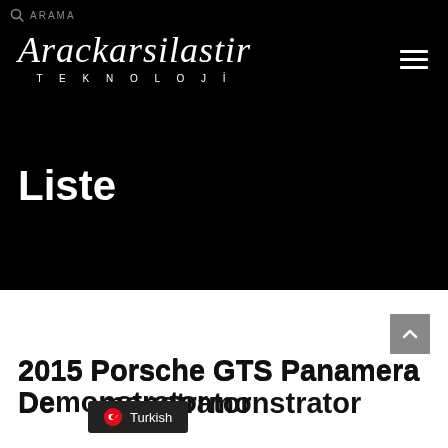ARAMA
Arackarsilastir TEKNOLOJİ
Liste
2015 Porsche GTS Panamera Demonstrator
Turkish